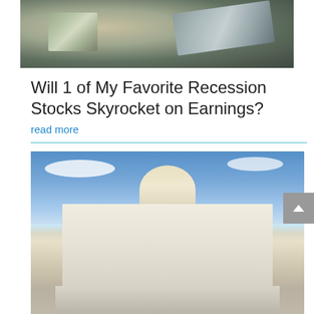[Figure (photo): Close-up photo of US dollar bills (100 dollar bills) fanned out, showing Benjamin Franklin's portrait, in grayscale/muted tones]
Will 1 of My Favorite Recession Stocks Skyrocket on Earnings?
read more
[Figure (photo): Photo of the United States Capitol building with blue sky and clouds in the background, viewed from the front steps]